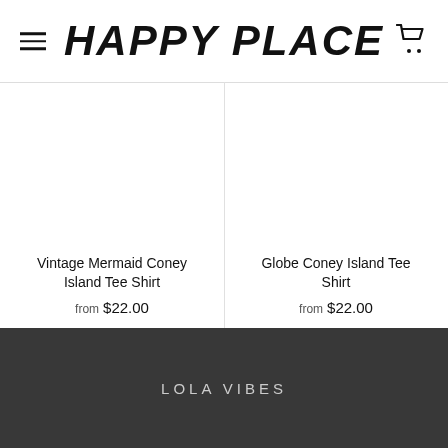HAPPY PLACE
Vintage Mermaid Coney Island Tee Shirt
from $22.00
Globe Coney Island Tee Shirt
from $22.00
LOLA VIBES